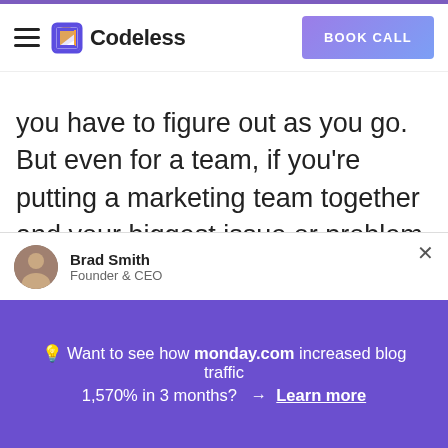Codeless | BOOK CALL
you have to figure out as you go. But even for a team, if you’re putting a marketing team together and your biggest issue or problem is creating content assets but you hire someone who’s like super good at optimizing shit. That guy’s not gonna have anything to optimize because you should’ve put more budget into the creation of the assets, not the link building and the
Brad Smith
Founder & CEO
💡 Want to see how monday.com increased blog traffic 1,570% in 3 months?  →  Learn more